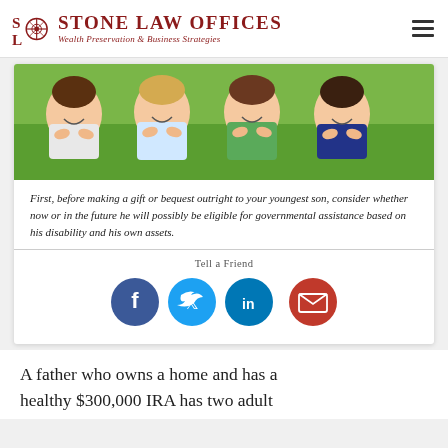Stone Law Offices — Wealth Preservation & Business Strategies
[Figure (photo): Four smiling children lying on grass, resting their chins in their hands]
First, before making a gift or bequest outright to your youngest son, consider whether now or in the future he will possibly be eligible for governmental assistance based on his disability and his own assets.
Tell a Friend
[Figure (infographic): Social sharing icons: Facebook (dark blue), Twitter (light blue), LinkedIn (teal), Email (red)]
A father who owns a home and has a healthy $300,000 IRA has two adult